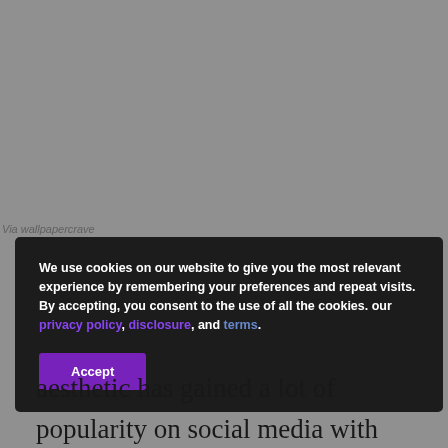Via wallpapercrave
We use cookies on our website to give you the most relevant experience by remembering your preferences and repeat visits. By accepting, you consent to the use of all the cookies. our privacy policy, disclosure, and terms.
aesthetic has gained a lot of popularity on social media with countless posts on Instagram and Pinterest. Cinephiles have shared their world of dark academia